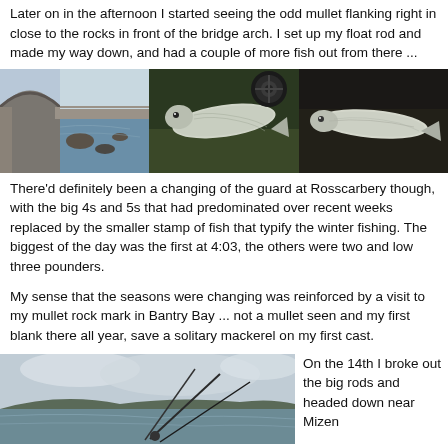Later on in the afternoon I started seeing the odd mullet flanking right in close to the rocks in front of the bridge arch. I set up my float rod and made my way down, and had a couple of more fish out from there ...
[Figure (photo): Three photos: left shows stone bridge arch over water with rocks; center shows a mullet fish on grass with a fishing reel; right shows a mullet fish on a dark surface.]
There'd definitely been a changing of the guard at Rosscarbery though, with the big 4s and 5s that had predominated over recent weeks replaced by the smaller stamp of fish that typify the winter fishing. The biggest of the day was the first at 4:03, the others were two and low three pounders.
My sense that the seasons were changing was reinforced by a visit to my mullet rock mark in Bantry Bay ... not a mullet seen and my first blank there all year, save a solitary mackerel on my first cast.
[Figure (photo): Photo of a coastal bay scene with cloudy sky, hills in background, and fishing rods in the foreground.]
On the 14th I broke out the big rods and headed down near Mizen